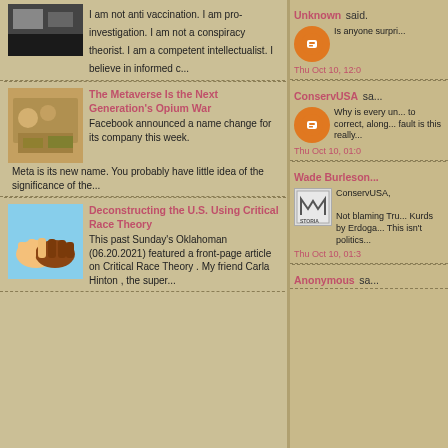I am not anti vaccination. I am pro-investigation. I am not a conspiracy theorist. I am a competent intellectualist. I believe in informed c...
The Metaverse Is the Next Generation's Opium War
Facebook announced a name change for its company this week. Meta is its new name. You probably have little idea of the significance of the...
Deconstructing the U.S. Using Critical Race Theory
This past Sunday's Oklahoman (06.20.2021) featured a front-page article on Critical Race Theory . My friend Carla Hinton , the super...
Unknown said.
Is anyone surpri...
Thu Oct 10, 12:0
ConservUSA sa...
Why is every un... to correct, along... fault is this really...
Thu Oct 10, 01:0
Wade Burleson...
ConservUSA,
Not blaming Tru... Kurds by Erdoga... This isn't politics...
Thu Oct 10, 01:3
Anonymous sa...